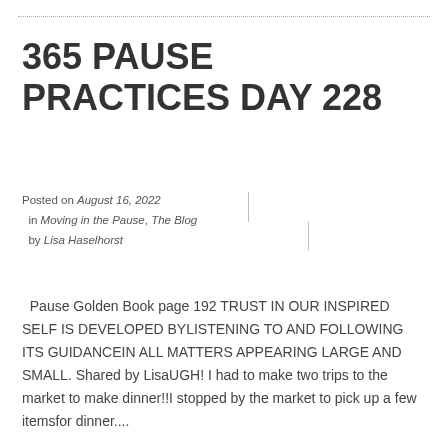365 PAUSE PRACTICES DAY 228
Posted on August 16, 2022
in Moving in the Pause, The Blog
by Lisa Haselhorst
Pause Golden Book page 192 TRUST IN OUR INSPIRED SELF IS DEVELOPED BYLISTENING TO AND FOLLOWING ITS GUIDANCEIN ALL MATTERS APPEARING LARGE AND SMALL. Shared by LisaUGH! I had to make two trips to the market to make dinner!!I stopped by the market to pick up a few itemsfor dinner....